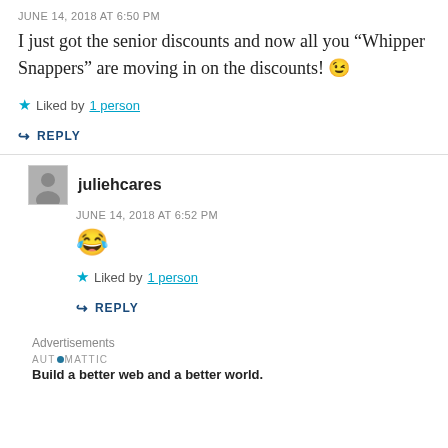JUNE 14, 2018 AT 6:50 PM
I just got the senior discounts and now all you “Whipper Snappers” are moving in on the discounts! 😉
★ Liked by 1 person
↪ REPLY
juliehcares
JUNE 14, 2018 AT 6:52 PM
😂
★ Liked by 1 person
↪ REPLY
Advertisements
AUTOMATTIC
Build a better web and a better world.